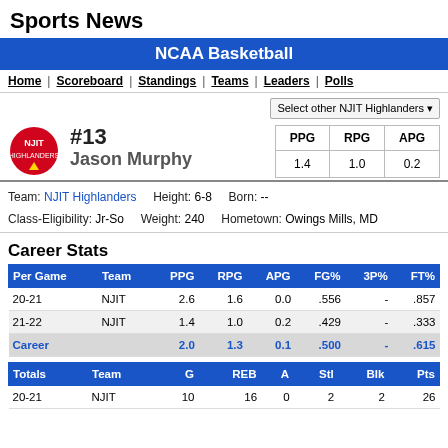Sports News
NCAA Basketball
Home | Scoreboard | Standings | Teams | Leaders | Polls
Select other NJIT Highlanders
#13 Jason Murphy
| PPG | RPG | APG |
| --- | --- | --- |
| 1.4 | 1.0 | 0.2 |
Team: NJIT Highlanders   Height: 6-8   Born: --
Class-Eligibility: Jr-So   Weight: 240   Hometown: Owings Mills, MD
Career Stats
| Per Game | Team | PPG | RPG | APG | FG% | 3P% | FT% |
| --- | --- | --- | --- | --- | --- | --- | --- |
| 20-21 | NJIT | 2.6 | 1.6 | 0.0 | .556 | - | .857 |
| 21-22 | NJIT | 1.4 | 1.0 | 0.2 | .429 | - | .333 |
| Career |  | 2.0 | 1.3 | 0.1 | .500 | - | .615 |
| Totals | Team | G | REB | A | Stl | Blk | Pts |
| --- | --- | --- | --- | --- | --- | --- | --- |
| 20-21 | NJIT | 10 | 16 | 0 | 2 | 2 | 26 |